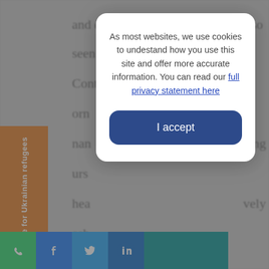[Figure (screenshot): Website background content partially visible behind a cookie consent modal overlay. An orange vertical sidebar on the left reads 'Donate for Ukrainian refugees'. A teal social sharing bar at the bottom contains WhatsApp, Facebook, Twitter, and LinkedIn icons. Partial text from an article is visible.]
As most websites, we use cookies to undestand how you use this site and offer more accurate information. You can read our full privacy statement here
I accept